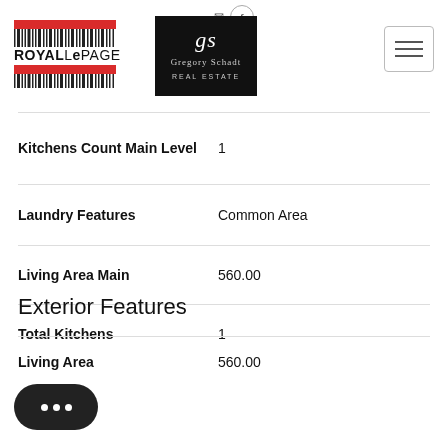[Figure (logo): Royal LePage logo with red bars and barcode stripes]
[Figure (logo): Gregory Schadt Real Estate logo on black background]
[Figure (other): Hamburger menu icon]
| Property | Value |
| --- | --- |
| Kitchens Count Main Level | 1 |
| Laundry Features | Common Area |
| Living Area Main | 560.00 |
| Total Kitchens | 1 |
Exterior Features
| Property | Value |
| --- | --- |
| Living Area | 560.00 |